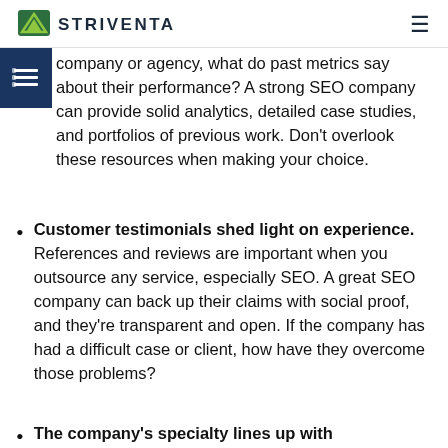STRIVENTA
company or agency, what do past metrics say about their performance? A strong SEO company can provide solid analytics, detailed case studies, and portfolios of previous work. Don't overlook these resources when making your choice.
Customer testimonials shed light on experience. References and reviews are important when you outsource any service, especially SEO. A great SEO company can back up their claims with social proof, and they're transparent and open. If the company has had a difficult case or client, how have they overcome those problems?
The company's specialty lines up with